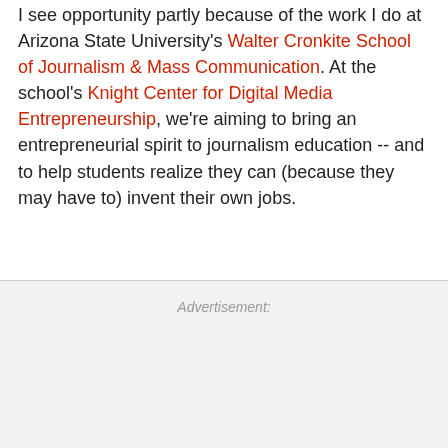I see opportunity partly because of the work I do at Arizona State University's Walter Cronkite School of Journalism & Mass Communication. At the school's Knight Center for Digital Media Entrepreneurship, we're aiming to bring an entrepreneurial spirit to journalism education -- and to help students realize they can (because they may have to) invent their own jobs.
Advertisement: